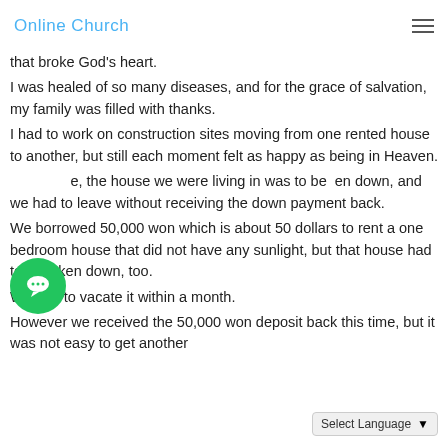Online Church
that broke God's heart.
I was healed of so many diseases, and for the grace of salvation, my family was filled with thanks.
I had to work on construction sites moving from one rented house to another, but still each moment felt as happy as being in Heaven.
[e], the house we were living in was to be [t]en down, and we had to leave without receiving the down payment back.
We borrowed 50,000 won which is about 50 dollars to rent a one bedroom house that did not have any sunlight, but that house had to be taken down, too.
We had to vacate it within a month.
However we received the 50,000 won deposit back this time, but it was not easy to get another